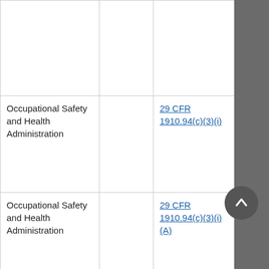| Agency |  | Citation | Citation (partial) |
| --- | --- | --- | --- |
|  |  |  |  |
| Occupational Safety and Health Administration |  | 29 CFR 1910.94(c)(3)(i) | 29 CFR 1910.1(9) |
| Occupational Safety and Health Administration |  | 29 CFR 1910.94(c)(3)(i)(A) | 29 CFR 1910.1(…) |
| Occupational Safety and Health Administration |  | 29 CFR 1910.94(c)(5)(i) | 29 CFR 1910.1(…) |